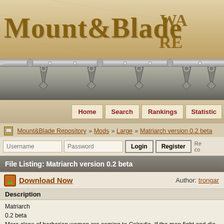[Figure (screenshot): Mount&Blade Warband Repository website header banner with medieval fantasy logo showing 'Mount&Blade' text in ornate golden font, with sword decoration and spiked bar below]
Home | Search | Rankings | Statistics
Mount&Blade Repository » Mods » Large » Matriarch version 0.2 beta
Username  Password  Login  Register
File Listing: Matriarch version 0.2 beta
Download Now    Author: trongar
Description
Matriarch
0.2 beta
More clans of barbarian women are coming to Calradia. If the men fight and die in the battle.
If the men have the power of the big citys, the five kingdoms of Calradia, this is not forever combined army of warrior women to the conquest.
Instalation: Delete the version 0.1 and copy and paste this version 0.2 into the modules co...